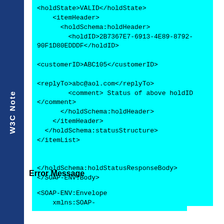[Figure (other): W3C Note sidebar label in vertical blue bar]
<holdState>VALID</holdState>
    <itemHeader>
      <holdSchema:holdHeader>
        <holdID>2B7367E7-6913-4E89-8792-90F1D80EDDDF</holdID>

<customerID>ABC105</customerID>

<replyTo>abc@aol.com</replyTo>
        <comment> Status of above holdID </comment>
      </holdSchema:holdHeader>
    </itemHeader>
  </holdSchema:statusStructure>
</itemList>


</holdSchema:holdStatusResponseBody>
</SOAP-ENV:Body>

</SOAP-ENV:Envelope>
Error Message
<SOAP-ENV:Envelope
    xmlns:SOAP-